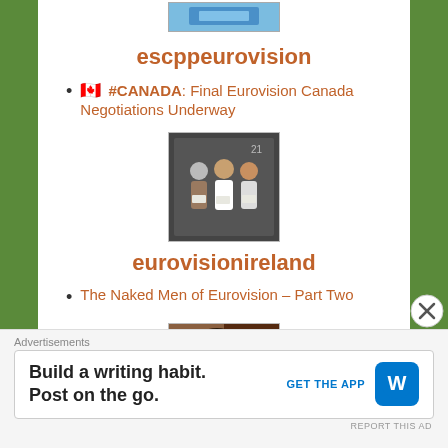[Figure (photo): Partial top image of a screen/device, partially visible at top of page]
escppeurovision
🇨🇦 #CANADA: Final Eurovision Canada Negotiations Underway
[Figure (photo): Group photo of several people standing together]
eurovisionireland
The Naked Men of Eurovision – Part Two
[Figure (photo): Portrait photo of a woman]
Advertisements
Build a writing habit. Post on the go.
GET THE APP